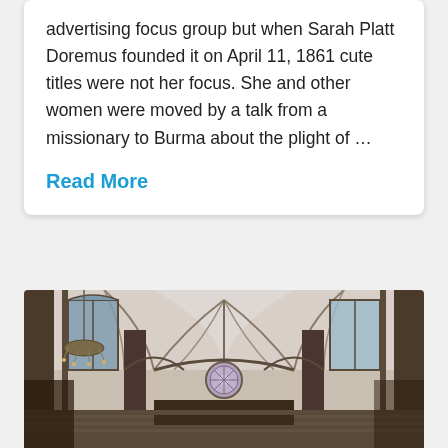advertising focus group but when Sarah Platt Doremus founded it on April 11, 1861 cute titles were not her focus. She and other women were moved by a talk from a missionary to Burma about the plight of ...
Read More
[Figure (photo): Interior of a Gothic cathedral showing vaulted stone arches, tall columns, stained glass windows with rose window at the far end, and a chandelier on the left side]